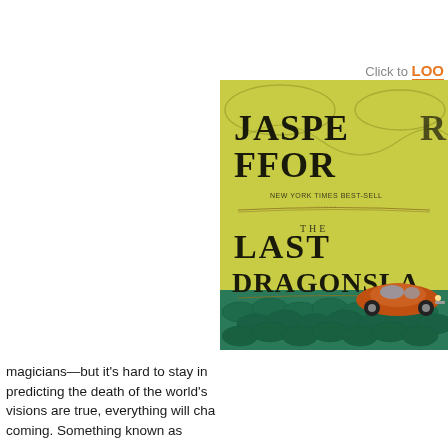Click to LOOK
[Figure (photo): Book cover of 'The Last Dragonslayer' by Jasper Fforde, showing a yellow-green illustrated cover with the author name, a New York Times best-seller tagline, the title text, and an orange Volkswagen Beetle car resting on green dragon scales at the bottom.]
magicians—but it's hard to stay in predicting the death of the world's visions are true, everything will cha coming. Something known as